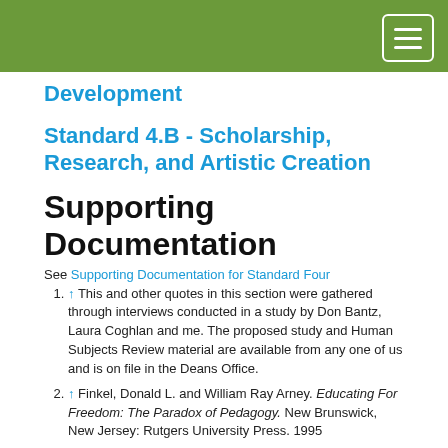Development
Standard 4.B - Scholarship, Research, and Artistic Creation
Supporting Documentation
See Supporting Documentation for Standard Four
↑ This and other quotes in this section were gathered through interviews conducted in a study by Don Bantz, Laura Coghlan and me. The proposed study and Human Subjects Review material are available from any one of us and is on file in the Deans Office.
↑ Finkel, Donald L. and William Ray Arney. Educating For Freedom: The Paradox of Pedagogy. New Brunswick, New Jersey: Rutgers University Press. 1995